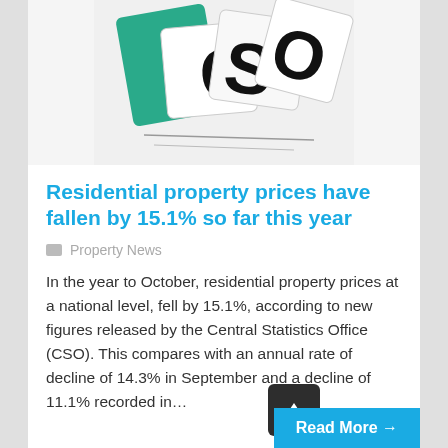[Figure (photo): Close-up photo of CSO (Central Statistics Office) dice or tiles showing letters C, S, O in black on a teal/green and white background]
Residential property prices have fallen by 15.1% so far this year
Property News
In the year to October, residential property prices at a national level, fell by 15.1%, according to new figures released by the Central Statistics Office (CSO). This compares with an annual rate of decline of 14.3% in September and a decline of 11.1% recorded in…
Read More →